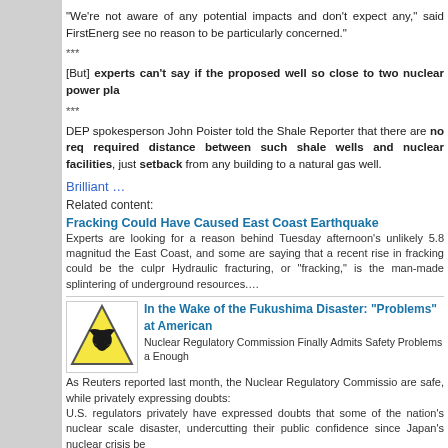“We’re not aware of any potential impacts and don’t expect any,” said FirstEnergy see no reason to be particularly concerned.”
***
[But] experts can’t say if the proposed well so close to two nuclear power pla
***
DEP spokesperson John Poister told the Shale Reporter that there are no req required distance between such shale wells and nuclear facilities, just setback from any building to a natural gas well.
Brilliant …
Related content:
Fracking Could Have Caused East Coast Earthquake
Experts are looking for a reason behind Tuesday afternoon’s unlikely 5.8 magnitud the East Coast, and some are saying that a recent rise in fracking could be the culpr Hydraulic fracturing, or “fracking,” is the man-made splintering of underground resources....
In the Wake of the Fukushima Disaster: “Problems” at American
Nuclear Regulatory Commission Finally Admits Safety Problems a Enough
As Reuters reported last month, the Nuclear Regulatory Commissio are safe, while privately expressing doubts: U.S. regulators privately have expressed doubts that some of the nation’s nuclear scale disaster, undercutting their public confidence since Japan’s nuclear crisis be